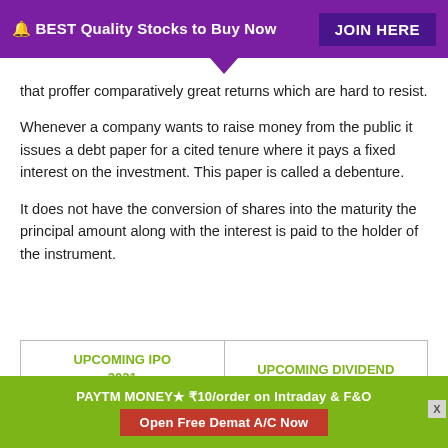🔔 BEST Quality Stocks to Buy Now  JOIN HERE
that proffer comparatively great returns which are hard to resist.
Whenever a company wants to raise money from the public it issues a debt paper for a cited tenure where it pays a fixed interest on the investment. This paper is called a debenture.
It does not have the conversion of shares into the maturity the principal amount along with the interest is paid to the holder of the instrument.
| UPCOMING IPO 2021 | UPCOMING DIVIDEND |
| --- | --- |
PAYTM MONEY★ ₹10/order on Intraday & F&O  Open Free Demat A/C Now